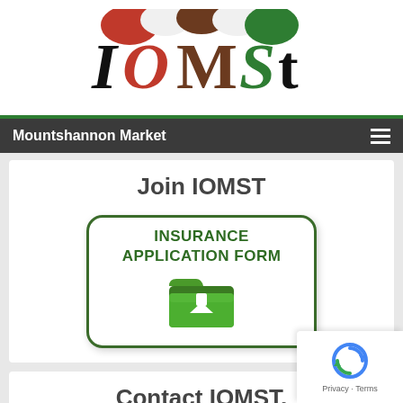[Figure (logo): IOMSt stylized logo with decorative lettering in black, red, brown and green colors, with market stall awning above]
Mountshannon Market
Join IOMST
[Figure (other): Download button with rounded rectangle border showing 'INSURANCE APPLICATION FORM' text in green and a green folder with white download arrow icon]
Contact IOMST.